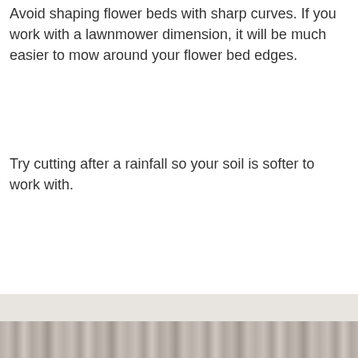Avoid shaping flower beds with sharp curves. If you work with a lawnmower dimension, it will be much easier to mow around your flower bed edges.
Try cutting after a rainfall so your soil is softer to work with.
[Figure (photo): A photo strip at the bottom of the page showing a textured ground or soil surface in muted gray-brown tones.]